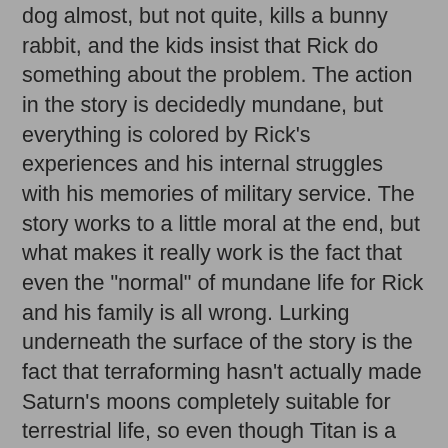dog almost, but not quite, kills a bunny rabbit, and the kids insist that Rick do something about the problem. The action in the story is decidedly mundane, but everything is colored by Rick's experiences and his internal struggles with his memories of military service. The story works to a little moral at the end, but what makes it really work is the fact that even the "normal" of mundane life for Rick and his family is all wrong. Lurking underneath the surface of the story is the fact that terraforming hasn't actually made Saturn's moons completely suitable for terrestrial life, so even though Titan is a more hospitable place to live than Europa or Tethys, it still offers a warped existence. Even if Rick is able to return to "normal", that normal is still screwed up.
Short and to the point but still lovely, Birth of an Astrophysicist by Bruce Boston captures that shining moment when someone first understands the true nature of the universe and sets out to study it further. Dedicated to the lonely distances of space travel, Layover by Wendy Rathbone almost makes traveling between planets seem mundane and routine enough to be sorrowful. With a little bit of kaiju and a dash of Dune, Grain of Truth by Robert Frazier engages in some musing about moths and what they might